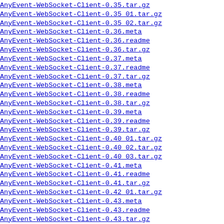AnyEvent-WebSocket-Client-0.35.tar.gz  04-Aug
AnyEvent-WebSocket-Client-0.35_01.tar.gz  24-Oct
AnyEvent-WebSocket-Client-0.35_02.tar.gz  25-Oct
AnyEvent-WebSocket-Client-0.36.meta  27-Oct
AnyEvent-WebSocket-Client-0.36.readme  27-Oct
AnyEvent-WebSocket-Client-0.36.tar.gz  27-Oct
AnyEvent-WebSocket-Client-0.37.meta  05-Nov
AnyEvent-WebSocket-Client-0.37.readme  05-Nov
AnyEvent-WebSocket-Client-0.37.tar.gz  05-Nov
AnyEvent-WebSocket-Client-0.38.meta  31-Jan
AnyEvent-WebSocket-Client-0.38.readme  31-Jan
AnyEvent-WebSocket-Client-0.38.tar.gz  31-Jan
AnyEvent-WebSocket-Client-0.39.meta  07-Jul
AnyEvent-WebSocket-Client-0.39.readme  07-Jul
AnyEvent-WebSocket-Client-0.39.tar.gz  07-Jul
AnyEvent-WebSocket-Client-0.40_01.tar.gz  07-Aug
AnyEvent-WebSocket-Client-0.40_02.tar.gz  10-Aug
AnyEvent-WebSocket-Client-0.40_03.tar.gz  10-Aug
AnyEvent-WebSocket-Client-0.41.meta  11-Aug
AnyEvent-WebSocket-Client-0.41.readme  11-Aug
AnyEvent-WebSocket-Client-0.41.tar.gz  11-Aug
AnyEvent-WebSocket-Client-0.42_01.tar.gz  18-Oct
AnyEvent-WebSocket-Client-0.43.meta  19-Oct
AnyEvent-WebSocket-Client-0.43.readme  19-Oct
AnyEvent-WebSocket-Client-0.43.tar.gz  19-Oct
AnyEvent-WebSocket-Client-0.44.meta  12-Dec
AnyEvent-WebSocket-Client-0.44.readme  12-Dec
AnyEvent-WebSocket-Client-0.44.tar.gz  12-Dec
AnyEvent-WebSocket-Client-0.45_01.tar.gz  04-Apr
AnyEvent-WebSocket-Client-0.46.meta  07-Apr